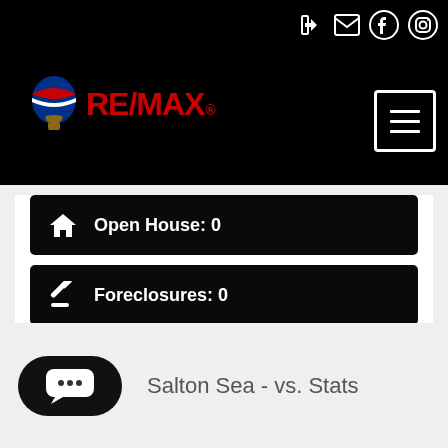[Figure (logo): RE/MAX logo with balloon and red RE/MAX text on black navigation bar]
Open House: 0
Foreclosures: 0
Short Sales: 0
Salton Sea - vs. Stats